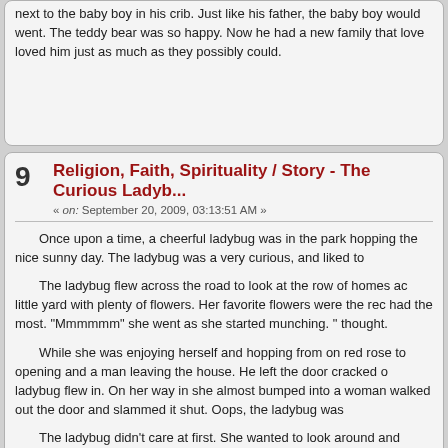next to the baby boy in his crib. Just like his father, the baby boy would went. The teddy bear was so happy. Now he had a new family that love loved him just as much as they possibly could.
9  Religion, Faith, Spirituality / Story - The Curious Ladyb...
« on: September 20, 2009, 03:13:51 AM »
Once upon a time, a cheerful ladybug was in the park hopping the nice sunny day. The ladybug was a very curious, and liked to
The ladybug flew across the road to look at the row of homes ac little yard with plenty of flowers. Her favorite flowers were the rec had the most. "Mmmmmm" she went as she started munching. " thought.
While she was enjoying herself and hopping from on red rose to opening and a man leaving the house. He left the door cracked o ladybug flew in. On her way in she almost bumped into a woman walked out the door and slammed it shut. Oops, the ladybug was
The ladybug didn't care at first. She wanted to look around and